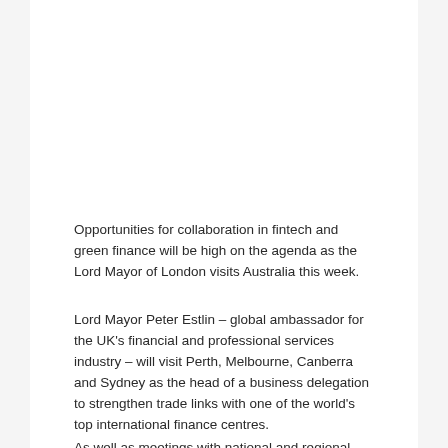Opportunities for collaboration in fintech and green finance will be high on the agenda as the Lord Mayor of London visits Australia this week.
Lord Mayor Peter Estlin – global ambassador for the UK's financial and professional services industry – will visit Perth, Melbourne, Canberra and Sydney as the head of a business delegation to strengthen trade links with one of the world's top international finance centres.
As well as meetings with national and regional government leaders, he will also have bilaterals with